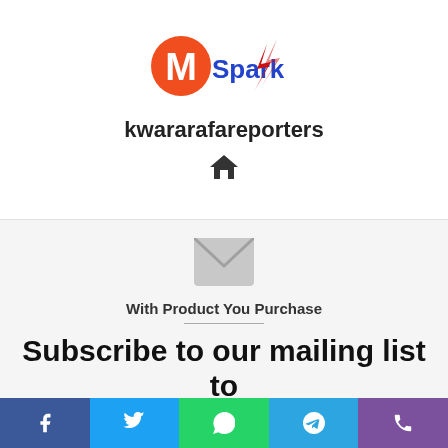[Figure (logo): MSpark logo with orange M circle and blue/red spark text]
kwararafareporters
[Figure (other): Home icon]
[Figure (other): Email/envelope icon]
With Product You Purchase
Subscribe to our mailing list to
[Figure (other): Social sharing bar with Facebook, Twitter, WhatsApp, Telegram, Viber icons]